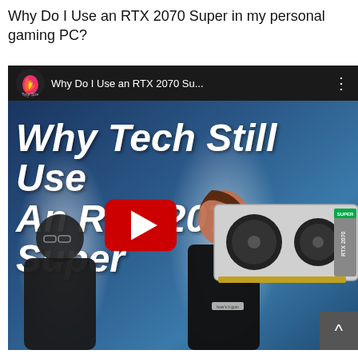Why Do I Use an RTX 2070 Super in my personal gaming PC?
[Figure (screenshot): YouTube video thumbnail screenshot showing a video titled 'Why Do I Use an RTX 2070 Su...' from Byte Size Tech channel. The thumbnail shows large bold italic text reading 'Why Tech Still Uses An RTX 2070 Super' overlaid on a blue background with two people sitting at a desk and an RTX 2070 Super graphics card image. A red YouTube play button is visible in the center. A scroll-up chevron button appears in the bottom right corner.]